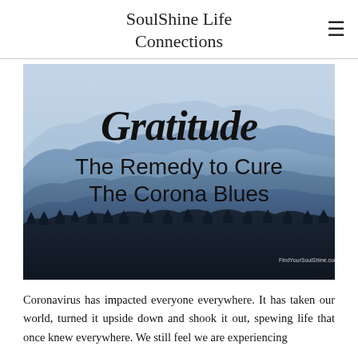SoulShine Life Connections
[Figure (illustration): Image with layered blue mountain silhouettes and sky background. Text overlay reads 'Gratitude' in cursive script and 'The Remedy to Cure The Corona Blues' in sans-serif. Small watermark at bottom right: FindYourSoulShine.com]
Coronavirus has impacted everyone everywhere. It has taken our world, turned it upside down and shook it out, spewing life that once knew everywhere. We still feel we are experiencing